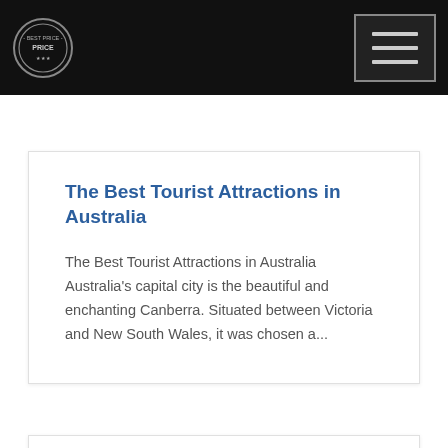Best Price logo and navigation menu
The Best Tourist Attractions in Australia
The Best Tourist Attractions in Australia Australia's capital city is the beautiful and enchanting Canberra. Situated between Victoria and New South Wales, it was chosen a...